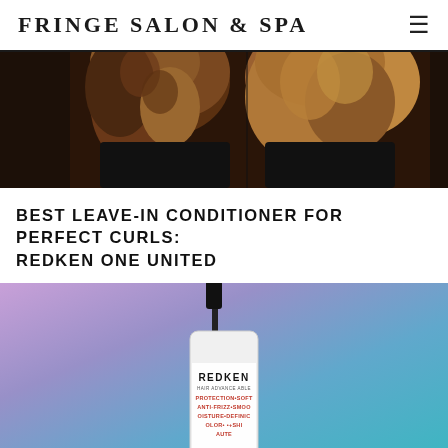FRINGE SALON & SPA
[Figure (photo): Before and after photo of a woman with curly hair, shown from behind, against a white background.]
BEST LEAVE-IN CONDITIONER FOR PERFECT CURLS: REDKEN ONE UNITED
[Figure (photo): Redken One United leave-in conditioner spray bottle against a purple-to-teal gradient background. The white bottle reads REDKEN, PROTECTION•SOFT, ANTI-FRIZZ•SMOOT, OISTURE•DEFINICI, OLOR•+SHI•AUTE.]